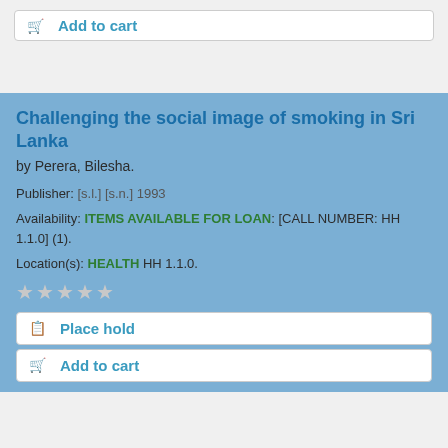Add to cart
Challenging the social image of smoking in Sri Lanka
by Perera, Bilesha.
Publisher: [s.l.] [s.n.] 1993
Availability: ITEMS AVAILABLE FOR LOAN: [CALL NUMBER: HH 1.1.0] (1).
Location(s): HEALTH HH 1.1.0.
Place hold
Add to cart
Effective public policy management the challenge facing Sri Lanka